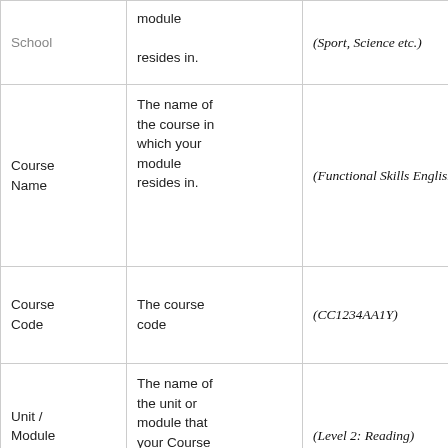| School | The school the module resides in. | (Sport, Science etc.) |
| Course Name | The name of the course in which your module resides in. | (Functional Skills English) |
| Course Code | The course code | (CC1234AA1Y) |
| Unit / Module Name | The name of the unit or module that your Course Page will | (Level 2: Reading) |